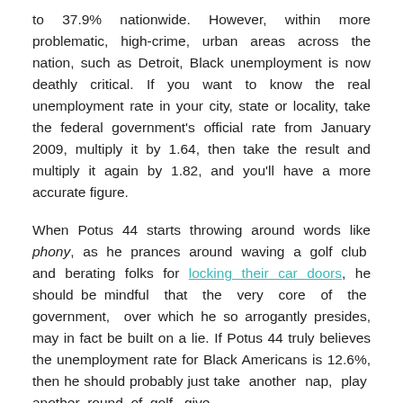to 37.9% nationwide. However, within more problematic, high-crime, urban areas across the nation, such as Detroit, Black unemployment is now deathly critical. If you want to know the real unemployment rate in your city, state or locality, take the federal government's official rate from January 2009, multiply it by 1.64, then take the result and multiply it again by 1.82, and you'll have a more accurate figure.
When Potus 44 starts throwing around words like phony, as he prances around waving a golf club and berating folks for locking their car doors, he should be mindful that the very core of the government, over which he so arrogantly presides, may in fact be built on a lie. If Potus 44 truly believes the unemployment rate for Black Americans is 12.6%, then he should probably just take another nap, play another round of golf, give